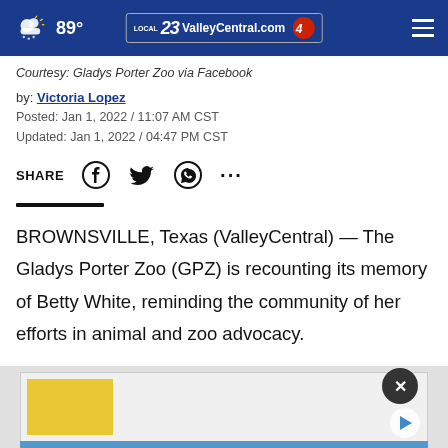89° ValleyCentral.com 23 4
Courtesy: Gladys Porter Zoo via Facebook
by: Victoria Lopez
Posted: Jan 1, 2022 / 11:07 AM CST
Updated: Jan 1, 2022 / 04:47 PM CST
SHARE [social icons]
BROWNSVILLE, Texas (ValleyCentral) — The Gladys Porter Zoo (GPZ) is recounting its memory of Betty White, reminding the community of her efforts in animal and zoo advocacy.
[Figure (screenshot): Advertisement banner with yellow block and gray background at bottom of page]